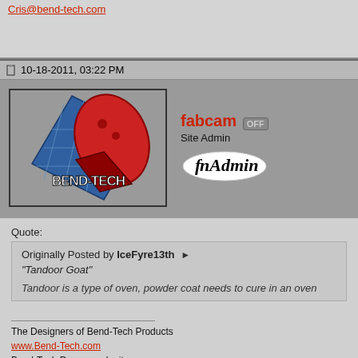Cris@bend-tech.com
10-18-2011, 03:22 PM
[Figure (logo): Bend-Tech logo with red rocket/fish shape and blue grid background]
fabcam OFF
Site Admin
fnAdmin
Quote:
Originally Posted by IceFyre13th
"Tandoor Goat"
Tandoor is a type of oven, powder coat needs to cure in an oven
The Designers of Bend-Tech Products
www.Bend-Tech.com
Bend-Tech Dragon web site:
http://www.BendTechDragon.com